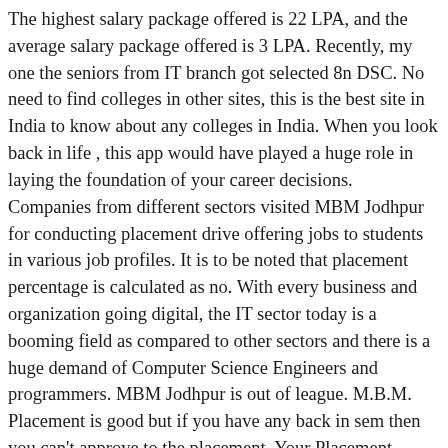The highest salary package offered is 22 LPA, and the average salary package offered is 3 LPA. Recently, my one the seniors from IT branch got selected 8n DSC. No need to find colleges in other sites, this is the best site in India to know about any colleges in India. When you look back in life , this app would have played a huge role in laying the foundation of your career decisions. Companies from different sectors visited MBM Jodhpur for conducting placement drive offering jobs to students in various job profiles. It is to be noted that placement percentage is calculated as no. With every business and organization going digital, the IT sector today is a booming field as compared to other sectors and there is a huge demand of Computer Science Engineers and programmers. MBM Jodhpur is out of league. M.B.M. Placement is good but if you have any back in sem then you can't approve to the placement. Your Placement Report Downloaded Successfully, The Question containing Inaapropriate or Abusive Words, Question lacks the basic details making it difficult to answer, Topic Tagged to the Question are not relevant to Question, Question drives traffic to external sites for promotional or commercial purposes. Regular exam updates. QnA. Predictors. College